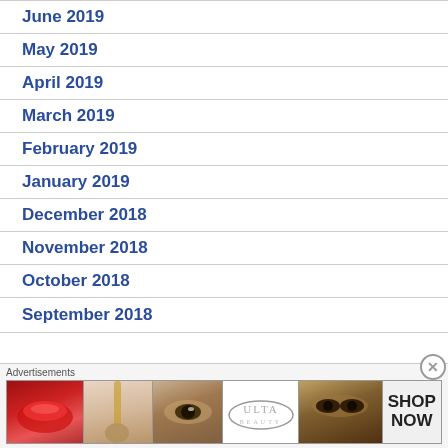June 2019
May 2019
April 2019
March 2019
February 2019
January 2019
December 2018
November 2018
October 2018
September 2018
[Figure (illustration): Ulta Beauty advertisement banner with makeup images including lips, brush, eye, Ulta logo, and eye closeup with SHOP NOW text]
Advertisements